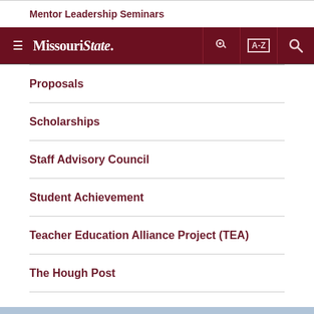Mentor Leadership Seminars
[Figure (screenshot): Missouri State University navigation bar with hamburger menu, logo, key icon, A-Z index icon, and search icon on dark maroon background]
Proposals
Scholarships
Staff Advisory Council
Student Achievement
Teacher Education Alliance Project (TEA)
The Hough Post